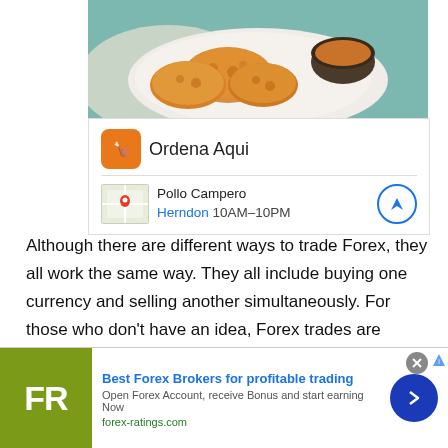[Figure (photo): Photo of fried chicken pieces on a white plate with a small cup of dipping sauce, on a teal/blue surface with a cloth napkin]
[Figure (screenshot): Ad card for Pollo Campero showing 'Ordena Aqui' with restaurant icon, map thumbnail, location 'Herndon' and hours '10AM-10PM' with navigation button]
Although there are different ways to trade Forex, they all work the same way. They all include buying one currency and selling another simultaneously. For those who don't have an idea, Forex trades are carried out through Forex brokers. However, this is a traditional style of Forex trading. With the emergence of online platforms, you can perform online trading. This is a more convenient way of trading as you can
[Figure (screenshot): Bottom advertisement banner: FR logo (olive green background) with text 'Best Forex Brokers for profitable trading', 'Open Forex Account, receive Bonus and start earning Now', 'forex-ratings.com', and a circular arrow button]